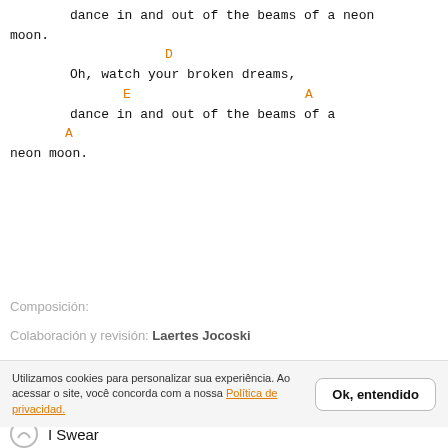dance in and out of the beams of a neon moon.
D
Oh, watch your broken dreams,
E                        A
dance in and out of the beams of a
A
neon moon.
Composición:
Colaboración y revisión: Laertes Jocoski
Toque também
Utilizamos cookies para personalizar sua experiência. Ao acessar o site, você concorda com a nossa Política de privacidad.
Ok, entendido
I Swear